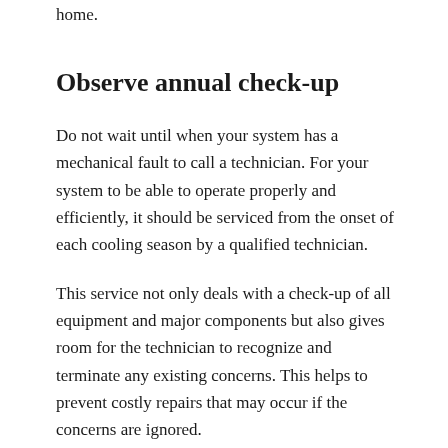home.
Observe annual check-up
Do not wait until when your system has a mechanical fault to call a technician. For your system to be able to operate properly and efficiently, it should be serviced from the onset of each cooling season by a qualified technician.
This service not only deals with a check-up of all equipment and major components but also gives room for the technician to recognize and terminate any existing concerns. This helps to prevent costly repairs that may occur if the concerns are ignored.
Ensure the unit is clean and clear